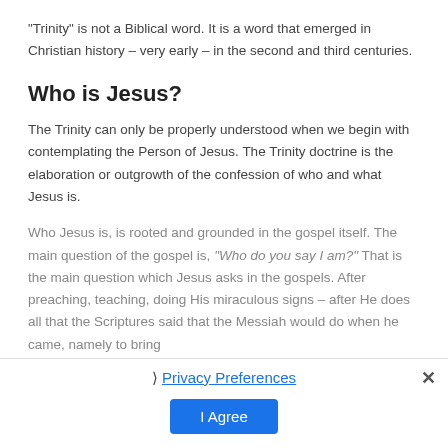“Trinity” is not a Biblical word. It is a word that emerged in Christian history – very early – in the second and third centuries.
Who is Jesus?
The Trinity can only be properly understood when we begin with contemplating the Person of Jesus. The Trinity doctrine is the elaboration or outgrowth of the confession of who and what Jesus is.
Who Jesus is, is rooted and grounded in the gospel itself. The main question of the gospel is, “Who do you say I am?” That is the main question which Jesus asks in the gospels. After preaching, teaching, doing His miraculous signs – after He does all that the Scriptures said that the Messiah would do when he came, namely to bring
Privacy Preferences
I Agree